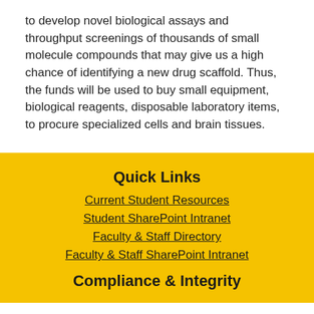to develop novel biological assays and throughput screenings of thousands of small molecule compounds that may give us a high chance of identifying a new drug scaffold. Thus, the funds will be used to buy small equipment, biological reagents, disposable laboratory items, to procure specialized cells and brain tissues.
Quick Links
Current Student Resources
Student SharePoint Intranet
Faculty & Staff Directory
Faculty & Staff SharePoint Intranet
Compliance & Integrity